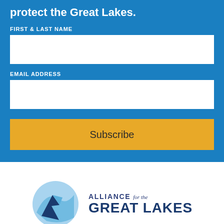protect the Great Lakes.
FIRST & LAST NAME
EMAIL ADDRESS
Subscribe
[Figure (logo): Alliance for the Great Lakes logo with circular wave graphic in light blue and dark blue, and text reading ALLIANCE for the GREAT LAKES]